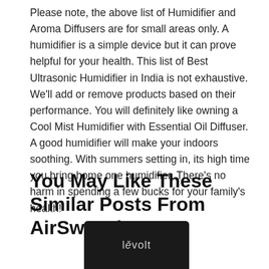Please note, the above list of Humidifier and Aroma Diffusers are for small areas only. A humidifier is a simple device but it can prove helpful for your health. This list of Best Ultrasonic Humidifier in India is not exhaustive. We'll add or remove products based on their performance. You will definitely like owning a Cool Mist Humidifier with Essential Oil Diffuser. A good humidifier will make your indoors soothing. With summers setting in, its high time you bring home one humidifier. There's no harm in spending a few bucks for your family's health!
You May Like These Similar Posts From AirSwacch!
[Figure (photo): A black cylindrical Levoit air purifier/humidifier product, cropped showing the top portion with the Levoit logo in gray text on a dark background.]